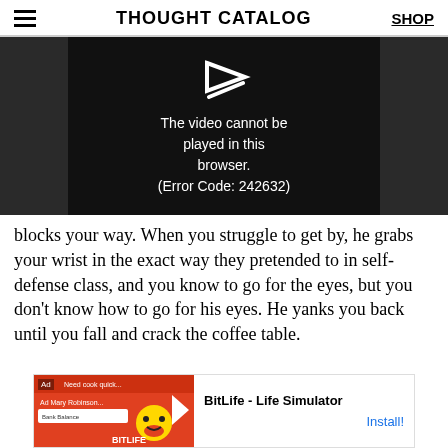THOUGHT CATALOG | SHOP
[Figure (screenshot): Video player showing error: 'The video cannot be played in this browser. (Error Code: 242632)']
blocks your way. When you struggle to get by, he grabs your wrist in the exact way they pretended to in self-defense class, and you know to go for the eyes, but you don't know how to go for his eyes. He yanks you back until you fall and crack the coffee table.
[Figure (screenshot): Ad banner for BitLife - Life Simulator with Install button]